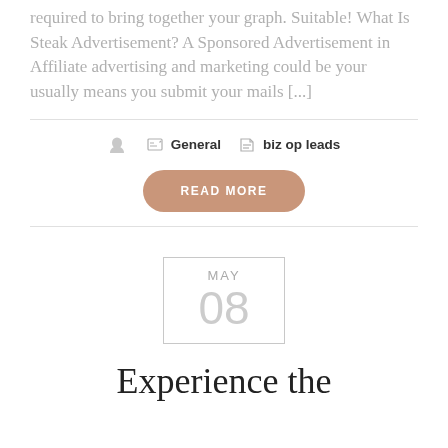required to bring together your graph. Suitable! What Is Steak Advertisement? A Sponsored Advertisement in Affiliate advertising and marketing could be your usually means you submit your mails [...]
General  biz op leads
READ MORE
[Figure (other): Date box showing MAY 08]
Experience the